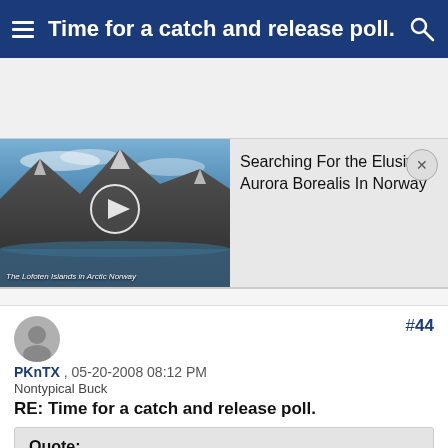Time for a catch and release poll.
[Figure (screenshot): Video thumbnail showing aerial view of Lofoten Islands in Arctic Norway with play button overlay]
Searching For the Elusive Aurora Borealis In Norway
PKnTX , 05-20-2008 08:12 PM
Nontypical Buck
RE: Time for a catch and release poll.
Quote:
ORIGINAL: indianahunter83

The thing is a 10lb bass wouldn't taste near as good as a